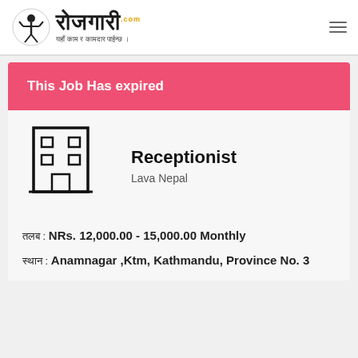रोजगारी .com — यहाँ काम र कामदार पाईन्छ ।
This Job Has expired
[Figure (illustration): Building/office icon — a simple line drawing of a multi-story building with windows and an entrance door]
Receptionist
Lava Nepal
तलब : NRs. 12,000.00 - 15,000.00 Monthly
स्थान : Anamnagar ,Ktm, Kathmandu, Province No. 3